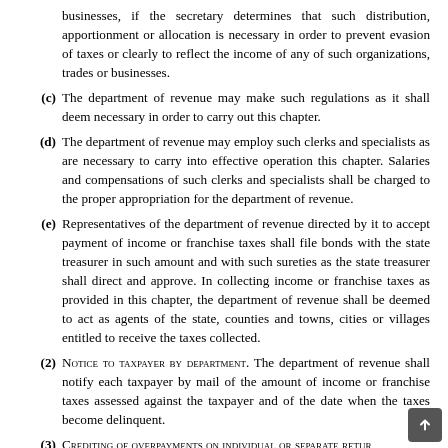businesses, if the secretary determines that such distribution, apportionment or allocation is necessary in order to prevent evasion of taxes or clearly to reflect the income of any of such organizations, trades or businesses.
(c) The department of revenue may make such regulations as it shall deem necessary in order to carry out this chapter.
(d) The department of revenue may employ such clerks and specialists as are necessary to carry into effective operation this chapter. Salaries and compensations of such clerks and specialists shall be charged to the proper appropriation for the department of revenue.
(e) Representatives of the department of revenue directed by it to accept payment of income or franchise taxes shall file bonds with the state treasurer in such amount and with such sureties as the state treasurer shall direct and approve. In collecting income or franchise taxes as provided in this chapter, the department of revenue shall be deemed to act as agents of the state, counties and towns, cities or villages entitled to receive the taxes collected.
(2) Notice to taxpayer by department. The department of revenue shall notify each taxpayer by mail of the amount of income or franchise taxes assessed against the taxpayer and of the date when the taxes become delinquent.
(3) Crediting of overpayments on individual or separate retur... In the case of any overpayment, refundable credit or refund on